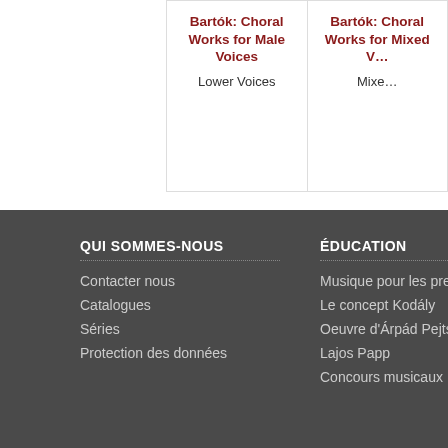Bartók: Choral Works for Male Voices
Lower Voices
Bartók: Choral Works for Mixed Voices
Mixed
QUI SOMMES-NOUS
Contacter nous
Catalogues
Séries
Protection des données
ÉDUCATION
Musique pour les premiers pas
Le concept Kodály
Oeuvre d'Árpád Pejtsik
Lajos Papp
Concours musicaux
This website makes use of cookies to enhance browsing experience and provide additional functionality. Details
Allow cookies